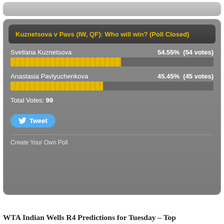[Figure (infographic): A closed poll widget showing results for 'Kuznetsova v Pavs (IW, QF): Who will win? (Poll Closed)'. Svetlana Kuznetsova: 54.55% (54 votes), Anastasia Pavlyuchenkova: 45.45% (45 votes). Total Votes: 99. Includes a Tweet button and a 'Create Your Own Poll' link.]
WTA Indian Wells R4 Predictions for Tuesday – Top